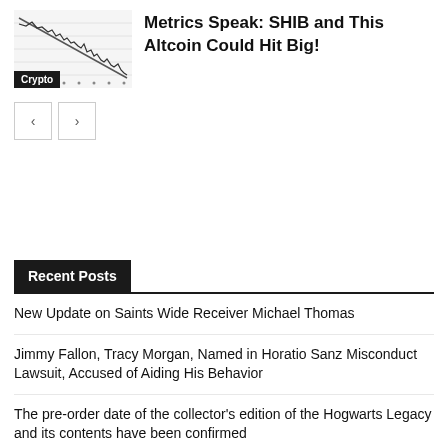[Figure (continuous-plot): A financial line chart thumbnail showing a downward trending price line on a grid background]
Metrics Speak: SHIB and This Altcoin Could Hit Big!
Crypto
Recent Posts
New Update on Saints Wide Receiver Michael Thomas
Jimmy Fallon, Tracy Morgan, Named in Horatio Sanz Misconduct Lawsuit, Accused of Aiding His Behavior
The pre-order date of the collector's edition of the Hogwarts Legacy and its contents have been confirmed